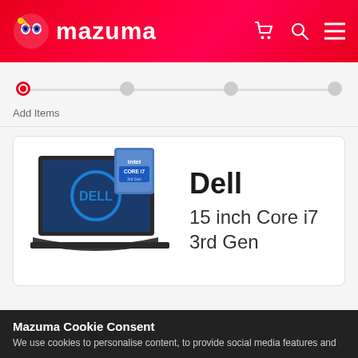[Figure (logo): Mazuma logo with cartoon character icon and white text 'mazuma' on red gradient header, with cart, search, and hamburger menu icons on the right]
[Figure (infographic): Progress stepper with 4 dots connected by a line. First dot is active (red circle outline), remaining three are grey. Label 'Add Items' below first dot.]
Add Items
[Figure (photo): Dell laptop product image with Intel Core i7 badge overlay, showing Dell logo on screen]
Dell
15 inch Core i7 3rd Gen
Mazuma Cookie Consent
We use cookies to personalise content, to provide social media features and